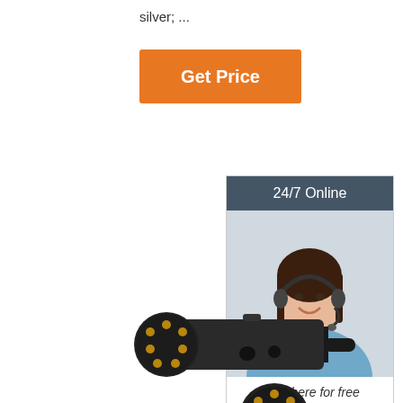silver; ...
Get Price
24/7 Online
[Figure (photo): Woman with headset smiling, customer support representative photo]
Click here for free chat !
QUOTATION
[Figure (photo): Black 7-pin trailer connector plug with gold contacts, shown alongside a round connector base with gold pins]